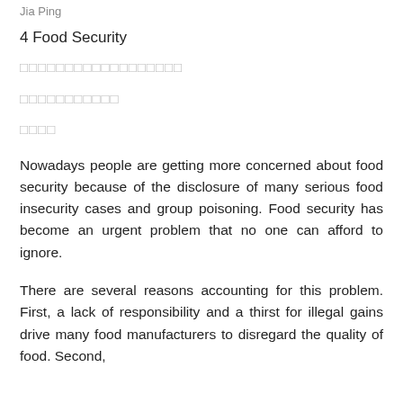Jia Ping
4 Food Security
□□□□□□□□□□□□□□□□□□
□□□□□□□□□□□
□□□□
Nowadays people are getting more concerned about food security because of the disclosure of many serious food insecurity cases and group poisoning. Food security has become an urgent problem that no one can afford to ignore.
There are several reasons accounting for this problem. First, a lack of responsibility and a thirst for illegal gains drive many food manufacturers to disregard the quality of food. Second,